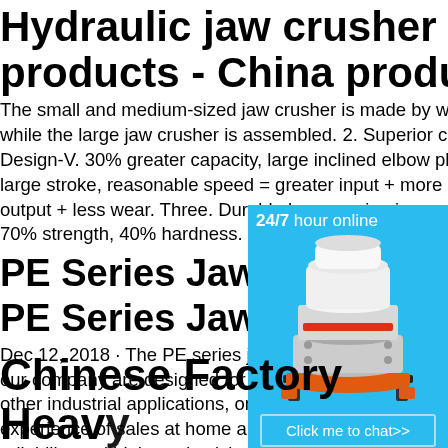Hydraulic jaw crusher sale products - China products ...
The small and medium-sized jaw crusher is made by welding, while the large jaw crusher is assembled. 2. Superior chamber Design-V. 30% greater capacity, large inclined elbow plate, large stroke, reasonable speed = greater input + more uniform output + less wear. Three. Durable heavy swing jaw assembly. 70% strength, 40% hardness. 4. Design of
PE Series Jaw Crusher
PE Series Jaw Crusher
Dec 12, 2018 · The PE series jaw crushers our company are designed for using in mining other industrial applications, on the base of experience of sales at home and abroad as reliability and high productivity. The size range (Maximum compression strength 300Mpa) 1200mm.
[Figure (illustration): Blue sidebar widget showing a cone crusher machine with '24/7 hour online' text, a 'Click me to chat>>' button, an 'Enquiry' section, and 'limingjlmofen' text at the bottom.]
Chinese Factory Heavy